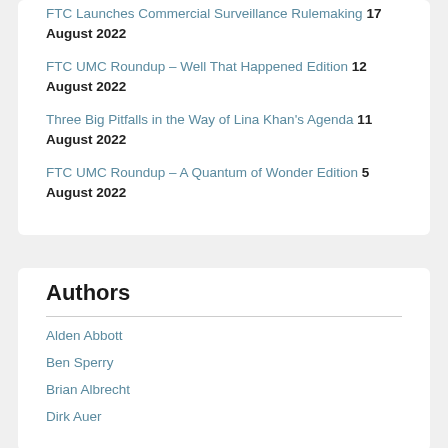FTC Launches Commercial Surveillance Rulemaking 17 August 2022
FTC UMC Roundup – Well That Happened Edition 12 August 2022
Three Big Pitfalls in the Way of Lina Khan's Agenda 11 August 2022
FTC UMC Roundup – A Quantum of Wonder Edition 5 August 2022
Authors
Alden Abbott
Ben Sperry
Brian Albrecht
Dirk Auer